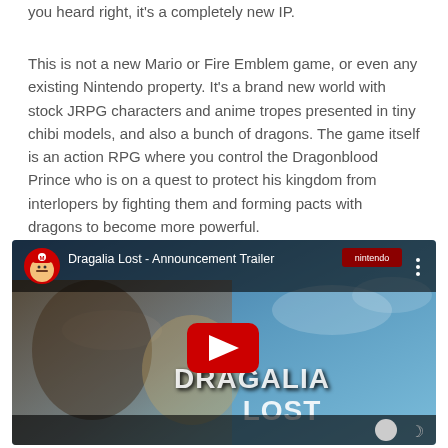you heard right, it's a completely new IP.
This is not a new Mario or Fire Emblem game, or even any existing Nintendo property. It's a brand new world with stock JRPG characters and anime tropes presented in tiny chibi models, and also a bunch of dragons. The game itself is an action RPG where you control the Dragonblood Prince who is on a quest to protect his kingdom from interlopers by fighting them and forming pacts with dragons to become more powerful.
[Figure (screenshot): Embedded YouTube video player showing Dragalia Lost - Announcement Trailer, with Mario icon, Nintendo badge, red play button, and game title overlay. Bottom bar shows circle and moon icons.]